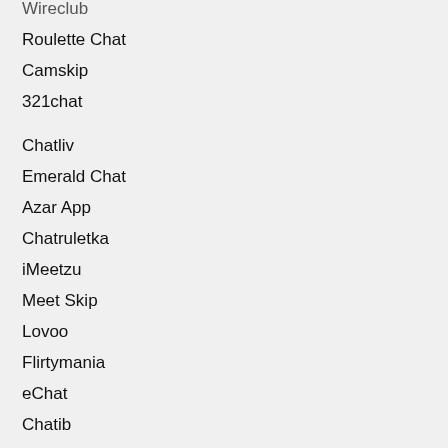Wireclub
Roulette Chat
Camskip
321chat
Chatliv
Emerald Chat
Azar App
Chatruletka
iMeetzu
Meet Skip
Lovoo
Flirtymania
eChat
Chatib
CocoChat
Camki